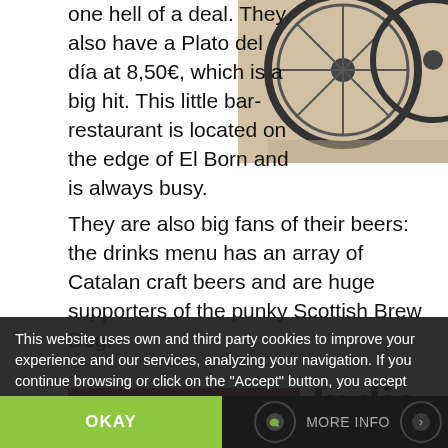one hell of a deal. They also have a Plato del día at 8,50€, which is a big hit. This little bar-restaurant is located on the edge of El Born and is always busy. They are also big fans of their beers: the drinks menu has an array of Catalan craft beers and are huge supporters of the punky Scottish Brew Dog.
[Figure (photo): Photo of a bicycle wheel/bike from above on tiled floor]
[Figure (photo): Photo of a restaurant storefront with 'NICE SPICE' sign visible]
India n
This website uses own and third party cookies to improve your experience and our services, analyzing your navigation. If you continue browsing or click on the "Accept" button, you accept their use. You can prevent its installation, although it may cause navigation difficulties.
OKAY
MORE INFO